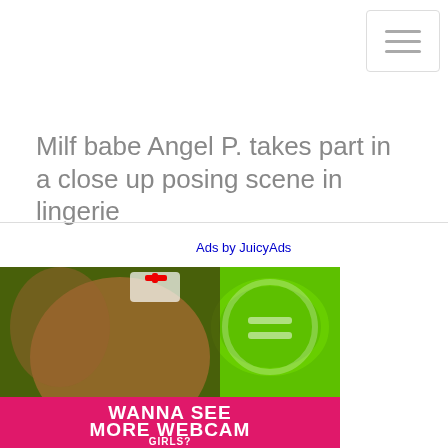☰ menu button
Milf babe Angel P. takes part in a close up posing scene in lingerie
Ads by JuicyAds
[Figure (photo): Adult advertisement banner showing two women, one in a nurse costume, on a green background with text 'WANNA SEE MORE WEBCAM GIRLS?']